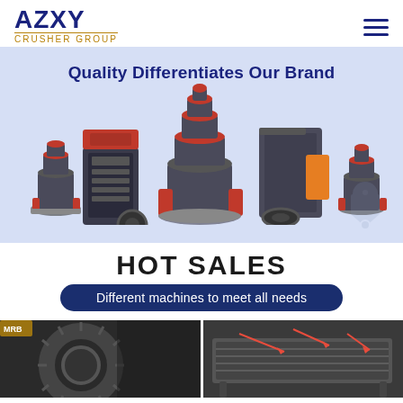AZXY crusher GROUP
[Figure (photo): Hero banner showing five industrial crushing machines arranged on a light blue background]
Quality Differentiates Our Brand
HOT SALES
Different machines to meet all needs
[Figure (photo): Close-up photo of a large industrial ball mill gear mechanism in a factory]
[Figure (photo): Industrial vibrating screen or feeder machine with red arrows indicating components]